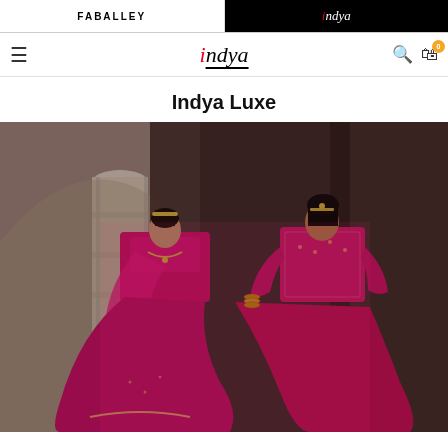FABALLEY | indya
indya (navigation bar with hamburger menu, logo, search and cart icons)
Indya Luxe
[Figure (photo): Two female models wearing vibrant pink/fuchsia lehenga choli (Indian bridal wear) with dupattas, standing in front of ornate white stone architectural pillars and archways, in an outdoor heritage monument setting. Left model has headband and dupatta draped over arm; right model has hair accessory and long-sleeve blouse.]